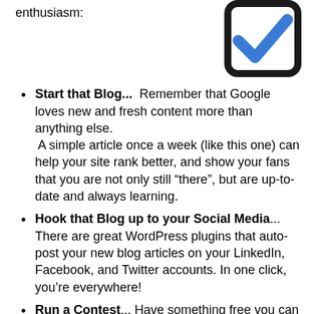enthusiasm:
[Figure (illustration): A checkbox icon with a blue checkmark inside a rounded square black border]
Start that Blog... Remember that Google loves new and fresh content more than anything else. A simple article once a week (like this one) can help your site rank better, and show your fans that you are not only still “there”, but are up-to-date and always learning.
Hook that Blog up to your Social Media... There are great WordPress plugins that auto-post your new blog articles on your LinkedIn, Facebook, and Twitter accounts. In one click, you’re everywhere!
Run a Contest... Have something free you can offer in a drawing? Send an email blast out with a survey that asks for valuable marketing info and offer something valuable.
Update your Content... Everything on your website up-to-date? Be sure you don’t have any mentions of things you don’t do anymore, people who don’t work with you anymore, and most importantly, look out for “coming